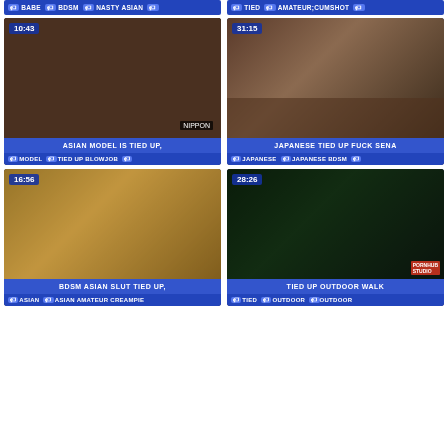BABE  BDSM  NASTY ASIAN  | TIED  AMATEUR;CUMSHOT
[Figure (screenshot): Video thumbnail: Asian model with man, duration 10:43, title ASIAN MODEL IS TIED UP, tags MODEL TIED UP BLOWJOB]
[Figure (screenshot): Video thumbnail: Japanese woman tied up, duration 31:15, title JAPANESE TIED UP FUCK SENA, tags JAPANESE JAPANESE BDSM]
[Figure (screenshot): Video thumbnail: BDSM Asian woman in chains, duration 16:56, title BDSM ASIAN SLUT TIED UP, tags ASIAN ASIAN AMATEUR CREAMPIE]
[Figure (screenshot): Video thumbnail: Woman outdoors at night, duration 28:26, title TIED UP OUTDOOR WALK, tags TIED OUTDOOR OUTDOOR]